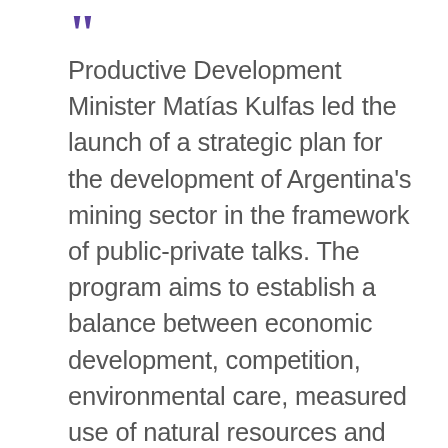Productive Development Minister Matías Kulfas led the launch of a strategic plan for the development of Argentina's mining sector in the framework of public-private talks. The program aims to establish a balance between economic development, competition, environmental care, measured use of natural resources and social welfare. The planning committee is made up of provincial and national government entities, scientific institutes, labor unions, businesses, business chambers, academics, professionals and civil society groups. Their objective will be